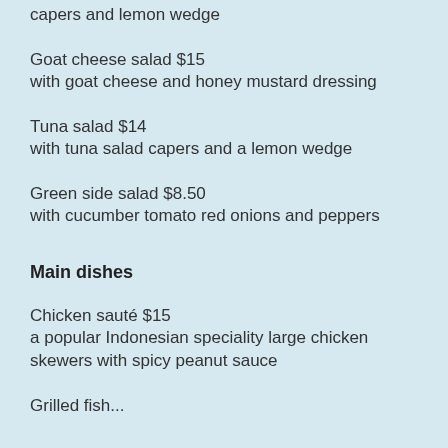capers and lemon wedge
Goat cheese salad $15
with goat cheese and honey mustard dressing
Tuna salad $14
with tuna salad capers and a lemon wedge
Green side salad $8.50
with cucumber tomato red onions and peppers
Main dishes
Chicken sauté $15
a popular Indonesian speciality large chicken skewers with spicy peanut sauce
Grilled fish...